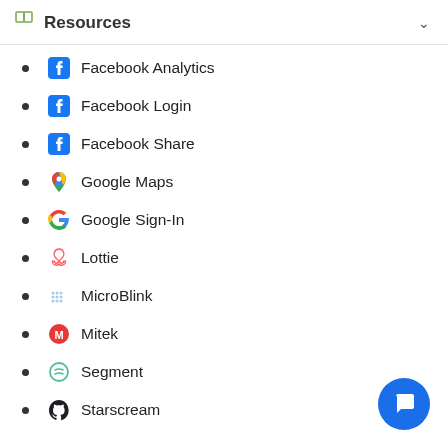Resources
Facebook Analytics
Facebook Login
Facebook Share
Google Maps
Google Sign-In
Lottie
MicroBlink
Mitek
Segment
Starscream